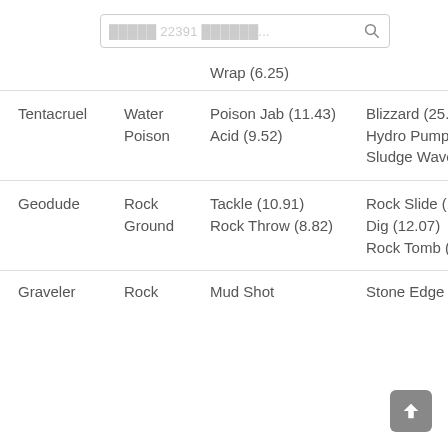[Figure (screenshot): Mobile app search bar with placeholder text '22391' and search icon]
| Pokemon | Type | Fast Moves | Charge Moves |
| --- | --- | --- | --- |
|  |  | Wrap (6.25) |  |
| Tentacruel | Water Poison | Poison Jab (11.43)
Acid (9.52) | Blizzard (25.64)
Hydro Pump (23.68)
Sludge Wave (20.59) |
| Geodude | Rock Ground | Tackle (10.91)
Rock Throw (8.82) | Rock Slide (15.63)
Dig (12.07)
Rock Tomb (8.82) |
| Graveler | Rock | Mud Shot | Stone Edge |